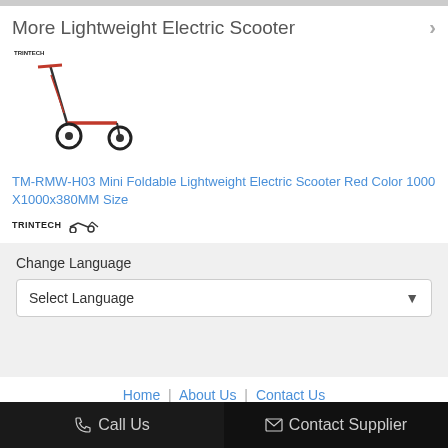More Lightweight Electric Scooter
[Figure (photo): Red electric scooter product image with TRINTECH branding]
TM-RMW-H03 Mini Foldable Lightweight Electric Scooter Red Color 1000 X1000x380MM Size
Change Language
Select Language
Home | About Us | Contact Us
Desktop View
Copyright © 2019 - 2022 rechargeable-electricscooter.com. All rights reserved.
Call Us
Contact Supplier